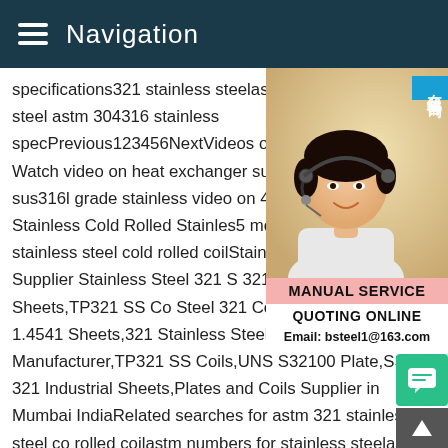Navigation
specifications321 stainless steelastm stainless steelstainless steel astm 304316 stainless specPrevious123456NextVideos of astm 321 stainless steel cold rolled coil Watch video on heat exchanger surface 316 316L sus316l grade stainless video on 410 1.5mm Cold Rolled Stainless Cold Rolled Stainles5 months agoSee more stainless steel cold rolled coilStainless Steel Plates,Coils Supplier Stainless Steel 321 SS 321 Plates,SUS 321 Sheets,TP321 SS Coils, Steel 321 Coils,Stainless Steel 1.4541 Sheets,321 Stainless Steel HR Sheets and Plate Manufacturer,TP321 SS Coils,UNS S32100 Plate,SS 321 Industrial Sheets,Plates and Coils Supplier in Mumbai IndiaRelated searches for astm 321 stainless steel cold rolled coilastm numbers for stainless steelastm stainless steel specificationsstainless steel plate astmastm 316 stainless steel
[Figure (photo): Customer service representative wearing a headset, smiling, with a blue badge showing Chinese text 在线咨询 (online consultation) and overlaid text labels: MANUAL SERVICE, QUOTING ONLINE, Email: bsteel1@163.com]